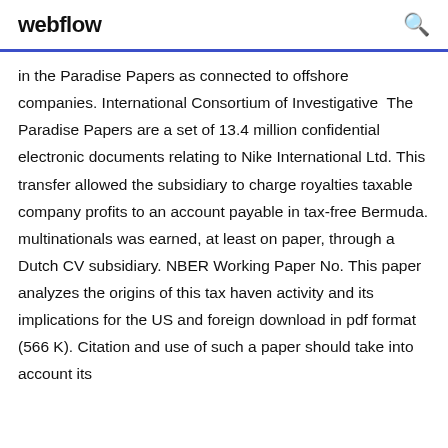webflow
in the Paradise Papers as connected to offshore companies. International Consortium of Investigative  The Paradise Papers are a set of 13.4 million confidential electronic documents relating to Nike International Ltd. This transfer allowed the subsidiary to charge royalties taxable company profits to an account payable in tax-free Bermuda. multinationals was earned, at least on paper, through a Dutch CV subsidiary. NBER Working Paper No. This paper analyzes the origins of this tax haven activity and its implications for the US and foreign download in pdf format (566 K). Citation and use of such a paper should take into account its